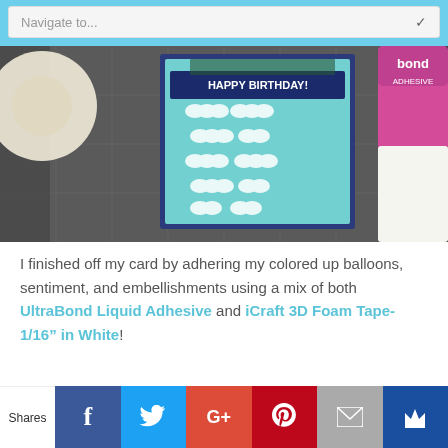Navigate to...
[Figure (photo): Birthday card with cloud pattern and 'Happy Birthday!' sentiment banner, next to a roll of white foam tape and a bottle of bond adhesive, on a gray cutting mat]
I finished off my card by adhering my colored up balloons, sentiment, and embellishments using a mix of both UltraBond Liquid Adhesive and iCraft 3D Foam Tape-1/16" in White!
Shares [Facebook] [Twitter] [Google+] [Pinterest] [Email] [Crown]